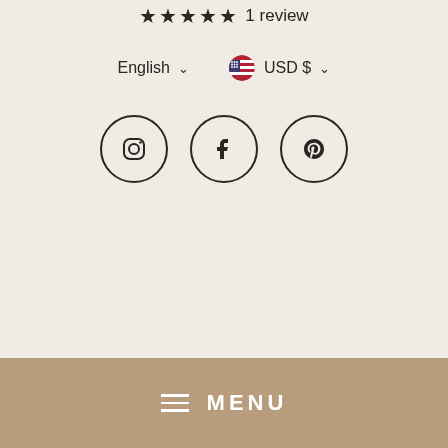★★★★★ 1 review
English ∨   🇺🇸 USD $ ∨
[Figure (illustration): Three social media icons in circles: Instagram, Facebook, Pinterest]
Search   Track your order   Shipping Policy
Return Policy   Terms of Service   Privacy Policy
FAQ   Contact Us   Become a JIN Affiliate
≡  MENU